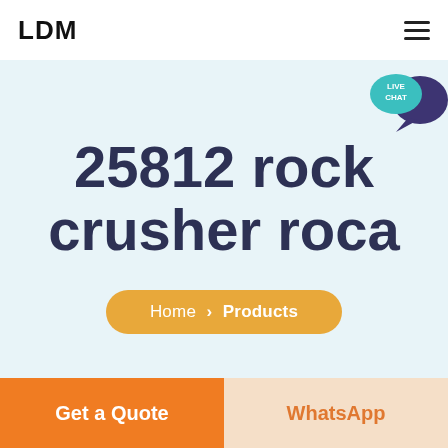LDM
25812 rock crusher roca
Home > Products
Get a Quote
WhatsApp